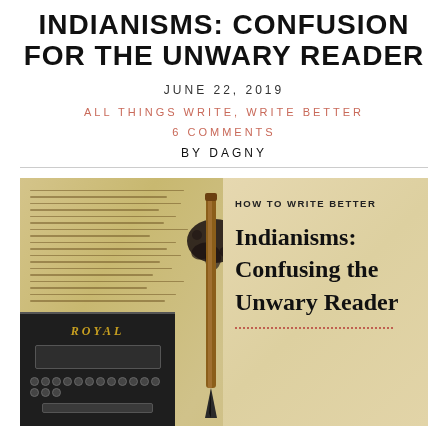INDIANISMS: CONFUSION FOR THE UNWARY READER
JUNE 22, 2019
ALL THINGS WRITE, WRITE BETTER
6 COMMENTS
BY DAGNY
[Figure (photo): A composite image showing an old parchment page with handwritten text and an ink blot from a calligraphy pen, overlaid with a dark image of a Royal typewriter in the bottom left corner. The right half shows a book/article title card reading 'How To Write Better — Indianisms: Confusing the Unwary Reader' on a warm parchment background with a dotted red underline.]